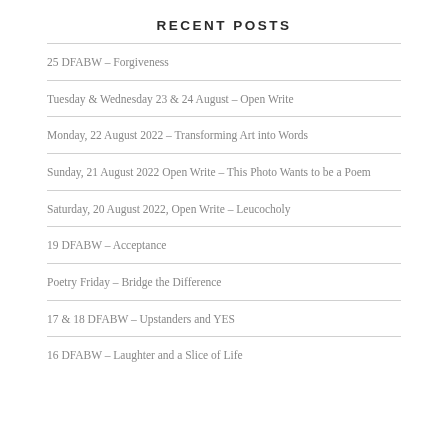RECENT POSTS
25 DFABW – Forgiveness
Tuesday & Wednesday 23 & 24 August – Open Write
Monday, 22 August 2022 – Transforming Art into Words
Sunday, 21 August 2022 Open Write – This Photo Wants to be a Poem
Saturday, 20 August 2022, Open Write – Leucocholy
19 DFABW – Acceptance
Poetry Friday – Bridge the Difference
17 & 18 DFABW – Upstanders and YES
16 DFABW – Laughter and a Slice of Life